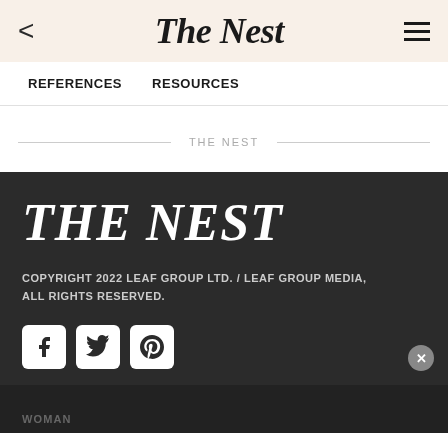The Nest
REFERENCES    RESOURCES
THE NEST
THE NEST
COPYRIGHT 2022 LEAF GROUP LTD. / LEAF GROUP MEDIA, ALL RIGHTS RESERVED.
[Figure (other): Social media icons: Facebook, Twitter, Pinterest]
WOMAN